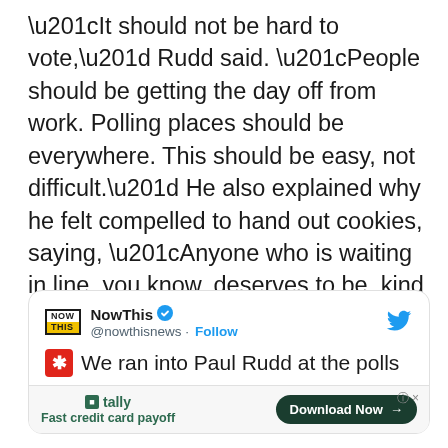“It should not be hard to vote,” Rudd said. “People should be getting the day off from work. Polling places should be everywhere. This should be easy, not difficult.” He also explained why he felt compelled to hand out cookies, saying, “Anyone who is waiting in line, you know, deserves to be, kind of, I think, thanked, and encouraged, and recognized.”
[Figure (screenshot): Tweet from NowThis (@nowthisnews) with verified badge and Follow button, showing tweet text 'We ran into Paul Rudd at the polls' with red asterisk emoji, and a Tally ad at the bottom saying 'Fast credit card payoff' with Download Now button.]